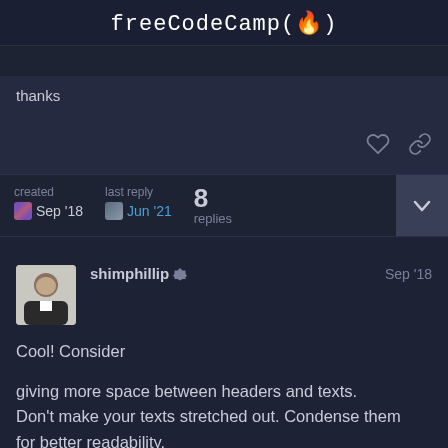freeCodeCamp(🔥)
thanks
created Sep '18 | last reply Jun '21 | 8 replies
shimphillip  Sep '18
Cool! Consider

giving more space between headers and texts. Don't make your texts stretched out. Condense them for better readability.